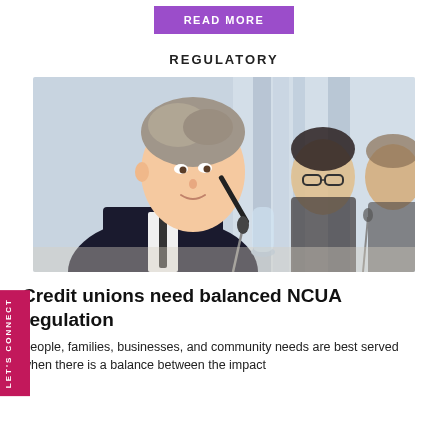[Figure (other): Purple button with text READ MORE]
REGULATORY
[Figure (photo): Young man in dark suit holding a pen/marker at a conference table, with two other people in business attire in the background, in a bright office setting]
Credit unions need balanced NCUA regulation
People, families, businesses, and community needs are best served when there is a balance between the impact